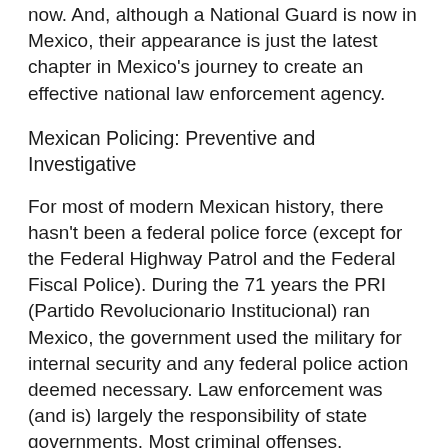now. And, although a National Guard is now in Mexico, their appearance is just the latest chapter in Mexico's journey to create an effective national law enforcement agency.
Mexican Policing: Preventive and Investigative
For most of modern Mexican history, there hasn't been a federal police force (except for the Federal Highway Patrol and the Federal Fiscal Police). During the 71 years the PRI (Partido Revolucionario Institucional) ran Mexico, the government used the military for internal security and any federal police action deemed necessary. Law enforcement was (and is) largely the responsibility of state governments. Most criminal offenses, including capital crimes, are handled by state authorities. But drug trafficking, in particular, is a federal offence, one that requires significant national resources to combat. As drug trafficking and organized crime have increased in Mexico, each new federal administration has shifted its approach to national law enforcement. The latest of the shifts has established the Guardia Nacional...